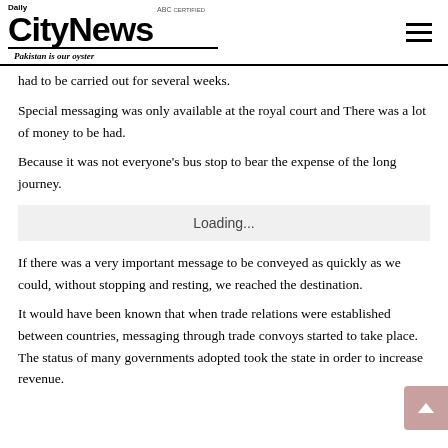Daily CityNews — ABC — Pakistan is our oyster
had to be carried out for several weeks.
Special messaging was only available at the royal court and There was a lot of money to be had.
Because it was not everyone's bus stop to bear the expense of the long journey.
Loading...
If there was a very important message to be conveyed as quickly as we could, without stopping and resting, we reached the destination.
It would have been known that when trade relations were established between countries, messaging through trade convoys started to take place. The status of many governments adopted took the state in order to increase revenue.